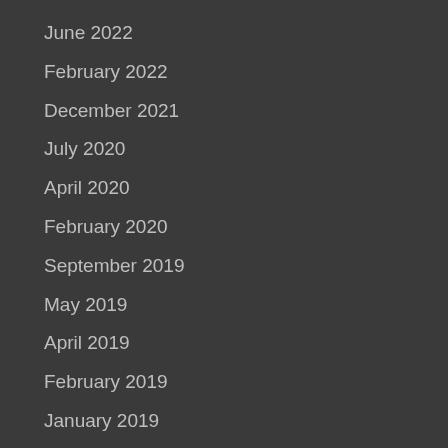June 2022
February 2022
December 2021
July 2020
April 2020
February 2020
September 2019
May 2019
April 2019
February 2019
January 2019
December 2018
October 2018
August 2018